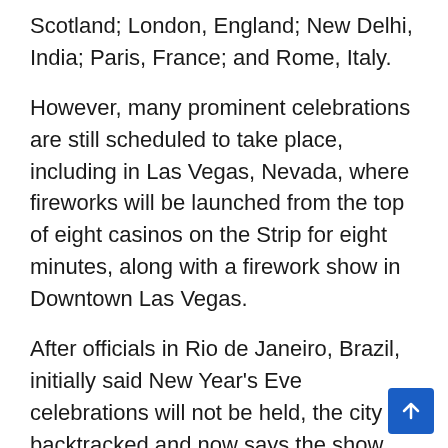Scotland; London, England; New Delhi, India; Paris, France; and Rome, Italy.
However, many prominent celebrations are still scheduled to take place, including in Las Vegas, Nevada, where fireworks will be launched from the top of eight casinos on the Strip for eight minutes, along with a firework show in Downtown Las Vegas.
After officials in Rio de Janeiro, Brazil, initially said New Year's Eve celebrations will not be held, the city backtracked and now says the show will go on.
Fireworks celebrations are scheduled to be held in Sydney, Australia; Taipei, Taiwan; Los Angeles, California; Miami, Florida; and Chicago, Illinois.
In Seattle, Washington, the usual fireworks show ato